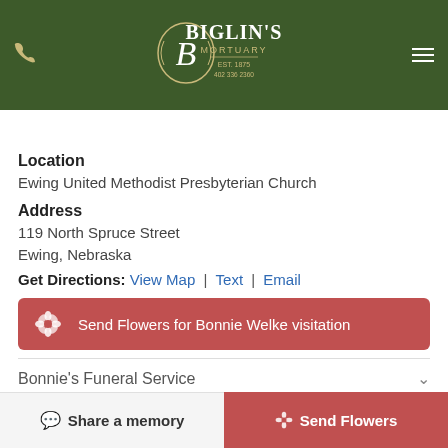[Figure (logo): Biglin's Mortuary logo on dark green header bar with phone icon and hamburger menu]
Location
Ewing United Methodist Presbyterian Church
Address
119 North Spruce Street
Ewing, Nebraska
Get Directions: View Map | Text | Email
Send Flowers for Bonnie Welke visitation
Bonnie's Funeral Service
When
Share a memory | Send Flowers